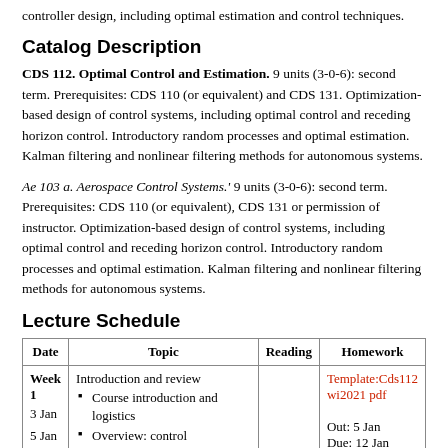controller design, including optimal estimation and control techniques.
Catalog Description
CDS 112. Optimal Control and Estimation. 9 units (3-0-6): second term. Prerequisites: CDS 110 (or equivalent) and CDS 131. Optimization-based design of control systems, including optimal control and receding horizon control. Introductory random processes and optimal estimation. Kalman filtering and nonlinear filtering methods for autonomous systems.
Ae 103 a. Aerospace Control Systems.' 9 units (3-0-6): second term. Prerequisites: CDS 110 (or equivalent), CDS 131 or permission of instructor. Optimization-based design of control systems, including optimal control and receding horizon control. Introductory random processes and optimal estimation. Kalman filtering and nonlinear filtering methods for autonomous systems.
Lecture Schedule
| Date | Topic | Reading | Homework |
| --- | --- | --- | --- |
| Week 1
3 Jan
5 Jan
7 Jan | Introduction and review
• Course introduction and logistics
• Overview: control architectures |  | Template:Cds112wi2021 pdf
Out: 5 Jan
Due: 12 Jan |